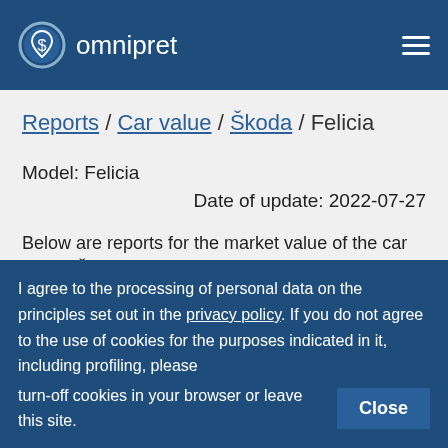omnipret
Reports / Car value / Škoda / Felicia
Model: Felicia
Date of update: 2022-07-27
Below are reports for the market value of the car model Škoda Felicia. It is divided into groups depending on the type of engine. Click on the links
I agree to the processing of personal data on the principles set out in the privacy policy. If you do not agree to the use of cookies for the purposes indicated in it, including profiling, please turn-off cookies in your browser or leave this site.